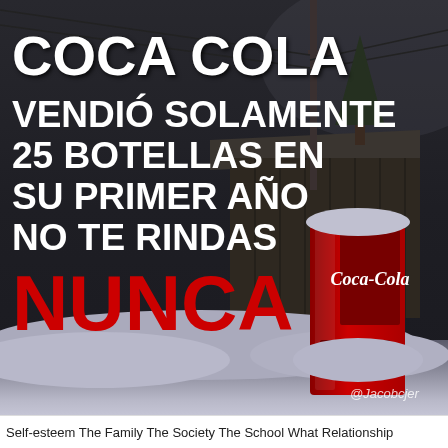[Figure (photo): Dark, moody photo of a snow-covered rural scene with an old wooden barn/shed, a Coca-Cola vending machine buried in snow on the right side, utility poles with wires, and a pine tree silhouette in the background. Large bold white text overlaid on the left reads 'COCA COLA VENDIÓ SOLAMENTE 25 BOTELLAS EN SU PRIMER AÑO NO TE RINDAS' and large bold red text reads 'NUNCA'. Watermark '@Jacobcjer' in bottom right.]
Self-esteem The Family The Society The School What Relationship